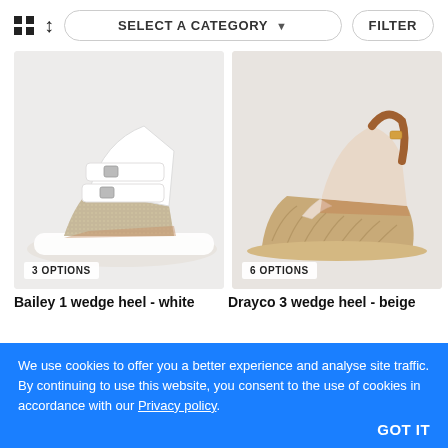[Figure (screenshot): Toolbar with grid icon, sort icon, SELECT A CATEGORY dropdown, and FILTER button]
[Figure (photo): White gladiator wedge sandal with buckle straps and glitter sole - Bailey 1 wedge heel white]
[Figure (photo): Beige espadrille wedge sandal with tan leather slingback strap - Drayco 3 wedge heel beige]
Bailey 1 wedge heel - white
Drayco 3 wedge heel - beige
We use cookies to offer you a better experience and analyse site traffic. By continuing to use this website, you consent to the use of cookies in accordance with our Privacy policy.